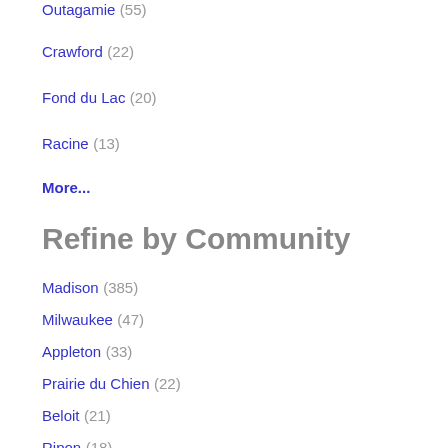Outagamie (55)
Crawford (22)
Fond du Lac (20)
Racine (13)
More...
Refine by Community
Madison (385)
Milwaukee (47)
Appleton (33)
Prairie du Chien (22)
Beloit (21)
Ripon (18)
Milton (15)
More...